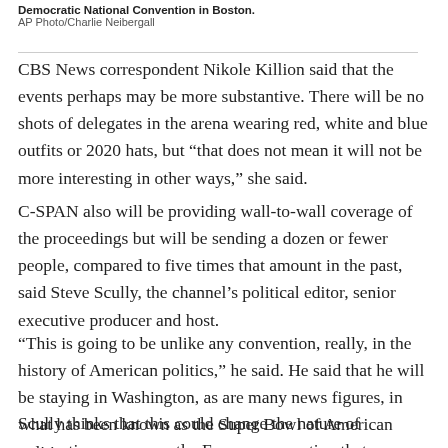Democratic National Convention in Boston. AP Photo/Charlie Neibergall
CBS News correspondent Nikole Killion said that the events perhaps may be more substantive. There will be no shots of delegates in the arena wearing red, white and blue outfits or 2020 hats, but “that does not mean it will not be more interesting in other ways,” she said.
C-SPAN also will be providing wall-to-wall coverage of the proceedings but will be sending a dozen or fewer people, compared to five times that amount in the past, said Steve Scully, the channel’s political editor, senior executive producer and host.
“This is going to be unlike any convention, really, in the history of American politics,” he said. He said that he will be staying in Washington, as are many news figures, in what has been known as the Super Bowl of American politics.
Scully thinks that this could change the nature of conventions permanently. For one, a question that comes up each cycle is